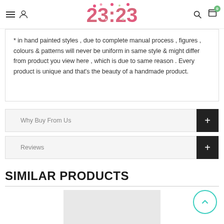23:23 store header with navigation
* in hand painted styles , due to complete manual process , figures , colours & patterns will never be uniform in same style & might differ from product you view here , which is due to same reason . Every product is unique and that's the beauty of a handmade product.
Why Buy From Us
Reviews
SIMILAR PRODUCTS